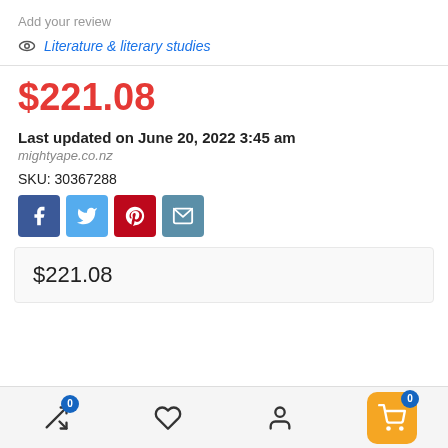Add your review
Literature & literary studies
$221.08
Last updated on June 20, 2022 3:45 am
mightyape.co.nz
SKU: 30367288
[Figure (other): Social share buttons: Facebook (dark blue), Twitter (light blue), Pinterest (red), Email (teal)]
$221.08
[Figure (other): Bottom navigation bar with compare (0), wishlist, account, and cart (0) icons]